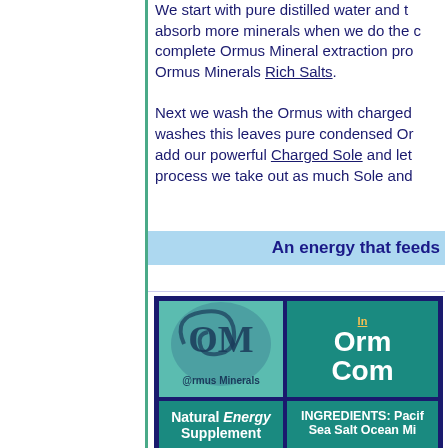We start with pure distilled water and to absorb more minerals when we do the complete Ormus Mineral extraction process Ormus Minerals Rich Salts. Next we wash the Ormus with charged washes this leaves pure condensed Ormus add our powerful Charged Sole and let process we take out as much Sole and
An energy that feeds
[Figure (logo): Ormus Minerals logo with OM swirl design and text 'OrmusMinerals']
Ir Orn Com
Natural Energy Supplement
INGREDIENTS: Pacific Sea Salt Ocean Mi
| SKU NUMBER | COST |
| --- | --- |
| OM-002-OCB-004 4 ounces | $15. |
| OM-002-OCB-008
8 ounces | $30. |
| OM-002-OCB- |  |